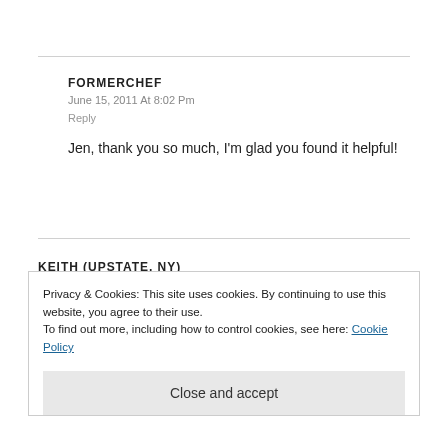FORMERCHEF
June 15, 2011 At 8:02 Pm
Reply
Jen, thank you so much, I'm glad you found it helpful!
KEITH (UPSTATE, NY)
Privacy & Cookies: This site uses cookies. By continuing to use this website, you agree to their use.
To find out more, including how to control cookies, see here: Cookie Policy
Close and accept